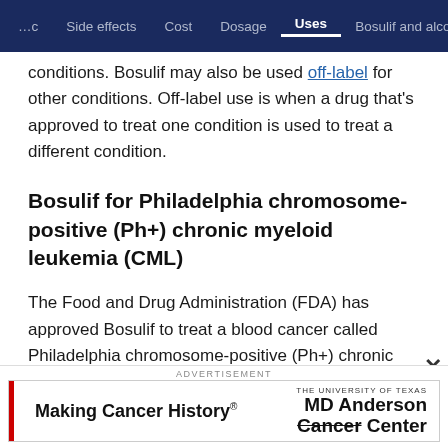Side effects | Cost | Dosage | Uses | Bosulif and alco
conditions. Bosulif may also be used off-label for other conditions. Off-label use is when a drug that's approved to treat one condition is used to treat a different condition.
Bosulif for Philadelphia chromosome-positive (Ph+) chronic myeloid leukemia (CML)
The Food and Drug Administration (FDA) has approved Bosulif to treat a blood cancer called Philadelphia chromosome-positive (Ph+) chronic myeloid leukemia (CML)...
[Figure (other): MD Anderson Cancer Center advertisement banner: Making Cancer History® MD Anderson Cancer Center]